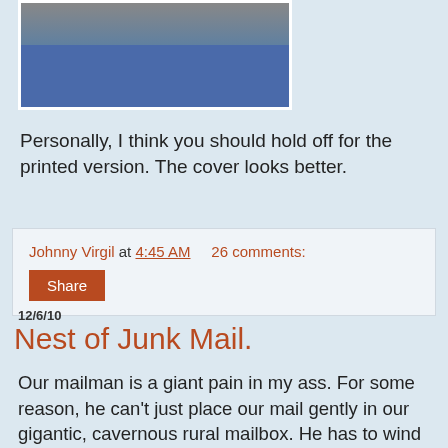[Figure (photo): Partial photo of a person wearing jeans and a light-colored top, cropped at torso level]
Personally, I think you should hold off for the printed version. The cover looks better.
Johnny Virgil at 4:45 AM   26 comments:
Share
12/6/10
Nest of Junk Mail.
Our mailman is a giant pain in my ass. For some reason, he can't just place our mail gently in our gigantic, cavernous rural mailbox. He has to wind up like a major league pitcher and throw it in. This means I can't pull up to the mailbox in my car and grab the mail, because I don't have the arms of